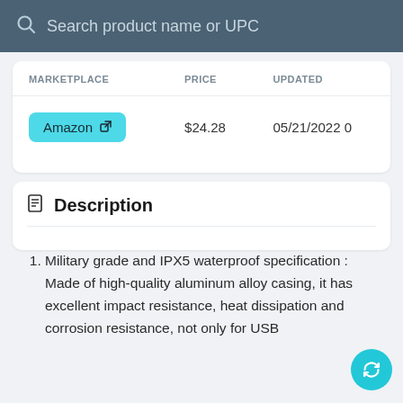Search product name or UPC
| MARKETPLACE | PRICE | UPDATED |
| --- | --- | --- |
| Amazon | $24.28 | 05/21/2022 0 |
Description
Military grade and IPX5 waterproof specification : Made of high-quality aluminum alloy casing, it has excellent impact resistance, heat dissipation and corrosion resistance, not only for USB